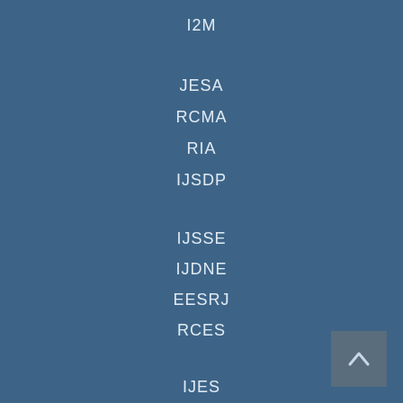I2M
JESA
RCMA
RIA
IJSDP
IJSSE
IJDNE
EESRJ
RCES
IJES